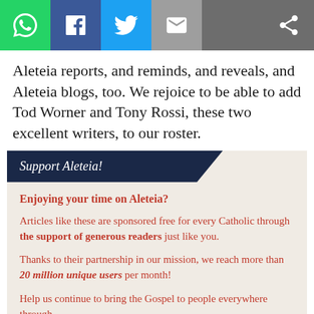[Figure (other): Social share bar with WhatsApp (green), Facebook (blue), Twitter (light blue), Email (grey), and Share icons on dark grey background]
Aleteia reports, and reminds, and reveals, and Aleteia blogs, too. We rejoice to be able to add Tod Worner and Tony Rossi, these two excellent writers, to our roster.
Support Aleteia!
Enjoying your time on Aleteia?
Articles like these are sponsored free for every Catholic through the support of generous readers just like you.
Thanks to their partnership in our mission, we reach more than 20 million unique users per month!
Help us continue to bring the Gospel to people everywhere through